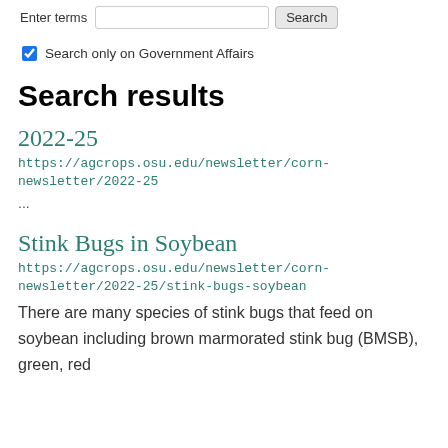Enter terms [search box] [Search button]
Search only on Government Affairs
Search results
2022-25
https://agcrops.osu.edu/newsletter/corn-newsletter/2022-25
...
Stink Bugs in Soybean
https://agcrops.osu.edu/newsletter/corn-newsletter/2022-25/stink-bugs-soybean
There are many species of stink bugs that feed on soybean including brown marmorated stink bug (BMSB), green, red